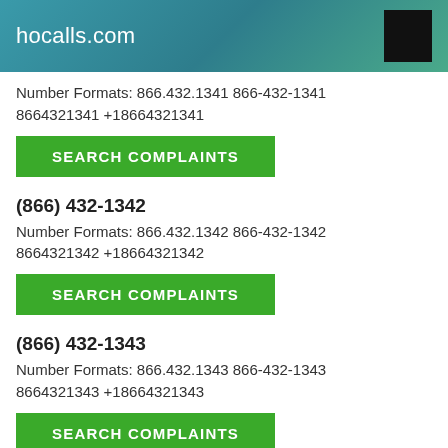hocalls.com
Number Formats: 866.432.1341 866-432-1341 8664321341 +18664321341
SEARCH COMPLAINTS
(866) 432-1342
Number Formats: 866.432.1342 866-432-1342 8664321342 +18664321342
SEARCH COMPLAINTS
(866) 432-1343
Number Formats: 866.432.1343 866-432-1343 8664321343 +18664321343
SEARCH COMPLAINTS
(866) 432-1344